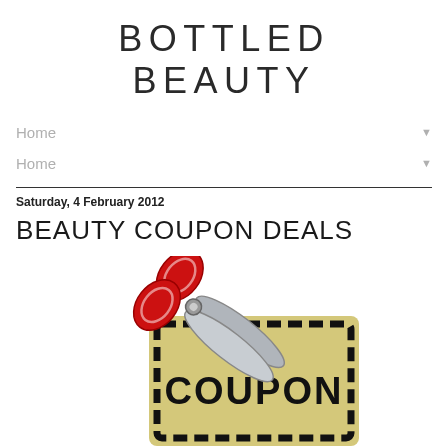BOTTLED BEAUTY
Home
Home
Saturday, 4 February 2012
BEAUTY COUPON DEALS
[Figure (illustration): Red scissors cutting a gold coupon ticket with dashed border and the word COUPON in bold black text]